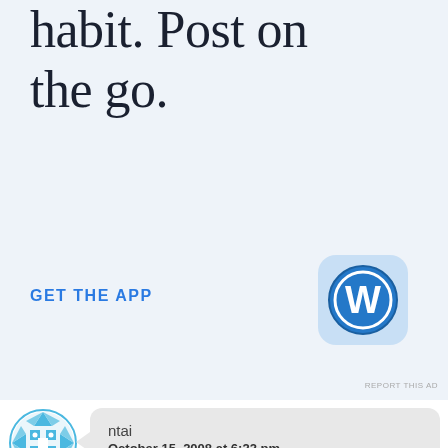habit. Post on the go.
GET THE APP
[Figure (logo): WordPress app icon — blue rounded-square with white W logo]
REPORT THIS AD
ntai
October 15, 2008 at 6:22 pm
Matt's QB rating 78.1 and Rivers' QB rating 109.4 were on display last game.
Switching NFL MVP QB to below average QB is very painful.
(according to QB rating at NFL.com)
Forgot the running game. It does not